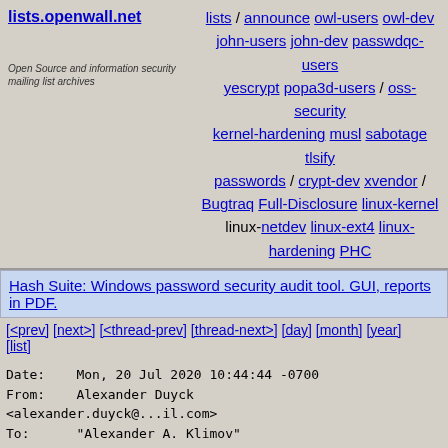lists.openwall.net — Open Source and information security mailing list archives
lists / announce owl-users owl-dev john-users john-dev passwdqc-users yescrypt popa3d-users / oss-security kernel-hardening musl sabotage tlsify passwords / crypt-dev xvendor / Bugtraq Full-Disclosure linux-kernel linux-netdev linux-ext4 linux-hardening PHC
Hash Suite: Windows password security audit tool. GUI, reports in PDF.
[<prev>] [next>] [<thread-prev] [thread-next>] [day] [month] [year] [list]
Date:    Mon, 20 Jul 2020 10:44:44 -0700
From:    Alexander Duyck <alexander.duyck@...il.com>
To:      "Alexander A. Klimov" <grandmaster@...klimov.de>
Cc:      Jeff Kirsher <jeffrey.t.kirsher@...el.com>,
         David Miller <davem@...emloft.net>,
         Jakub Kicinski <kuba@...nel.org>,
         Jonathan Corbet <corbet@....net>,
         intel-wired-lan <intel-wired-lan@...ts.osuosl.org>